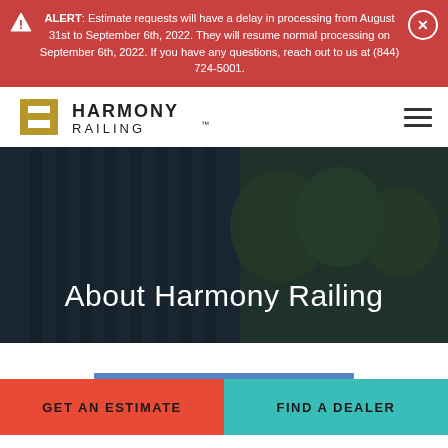ALERT: Estimate requests will have a delay in processing from August 31st to September 6th, 2022. They will resume normal processing on September 6th, 2022. If you have any questions, reach out to us at (844) 724-5001.
[Figure (logo): Harmony Railing logo with stylized H bracket symbol in gold and company name in dark text]
About Harmony Railing
GET AN ESTIMATE
FIND A DEALER